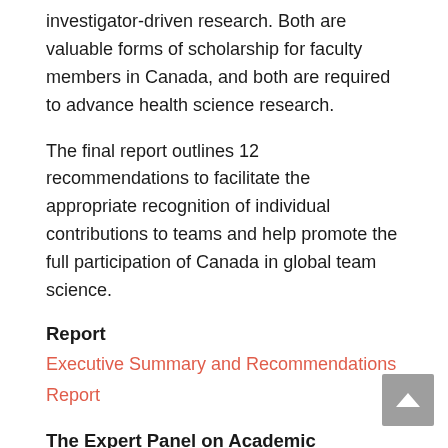investigator-driven research. Both are valuable forms of scholarship for faculty members in Canada, and both are required to advance health science research.
The final report outlines 12 recommendations to facilitate the appropriate recognition of individual contributions to teams and help promote the full participation of Canada in global team science.
Report
Executive Summary and Recommendations
Report
The Expert Panel on Academic Recognition of Team Science in Canada
The Panel comprised 10 experts from Canada and the United States with backgrounds in health research,